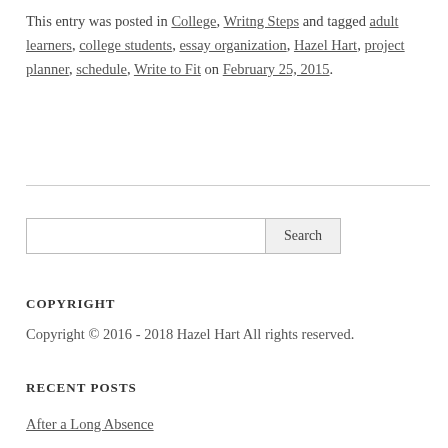This entry was posted in College, Writng Steps and tagged adult learners, college students, essay organization, Hazel Hart, project planner, schedule, Write to Fit on February 25, 2015.
Copyright © 2016 - 2018 Hazel Hart All rights reserved.
COPYRIGHT
RECENT POSTS
After a Long Absence